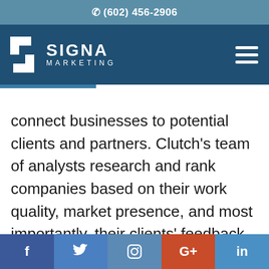(602) 456-2906
[Figure (logo): Signa Marketing logo with stylized S icon and text SIGNA MARKETING on dark blue navigation bar with hamburger menu icon]
connect businesses to potential clients and partners. Clutch’s team of analysts research and rank companies based on their work quality, market presence, and most importantly, their clients’ feedback. This is collected over the phone in
f  t  Instagram  G+  in